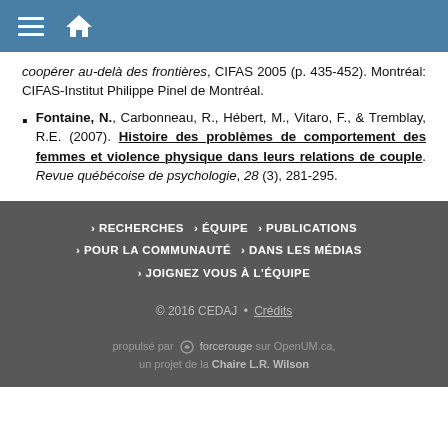Navigation bar with hamburger menu and home icon
coopérer au-delà des frontières, CIFAS 2005 (p. 435-452). Montréal: CIFAS-Institut Philippe Pinel de Montréal.
Fontaine, N., Carbonneau, R., Hébert, M., Vitaro, F., & Tremblay, R.E. (2007). Histoire des problèmes de comportement des femmes et violence physique dans leurs relations de couple. Revue québécoise de psychologie, 28 (3), 281-295.
> RECHERCHES  > ÉQUIPE  > PUBLICATIONS  > POUR LA COMMUNAUTÉ  > DANS LES MÉDIAS  > JOIGNEZ VOUS À L'ÉQUIPE
© 2016 CEDAJ • Crédits
propulsé par forcerouge sur OpenUM.ca, un projet de la Chaire L.R. Wilson